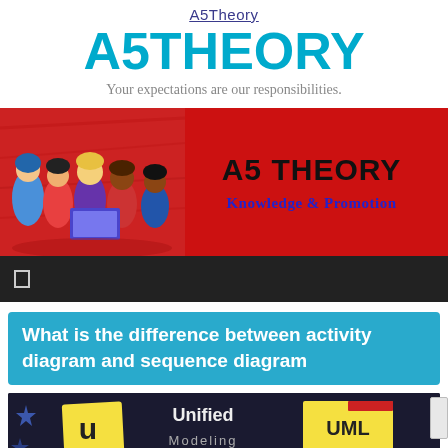A5Theory
A5THEORY
Your expectations are our responsibilities.
[Figure (illustration): Red banner with cartoon children on left and text 'A5 THEORY' and 'Knowledge & Promotion' on right]
[Figure (screenshot): Dark navigation bar with a small square icon on the left]
What is the difference between activity diagram and sequence diagram
[Figure (photo): Dark thumbnail image showing 'Unified' text with 'u' letter card and a sticky note with UML written on it]